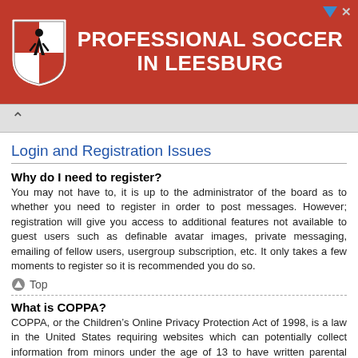[Figure (illustration): Red advertisement banner for Loudoun Soccer with shield logo and text 'PROFESSIONAL SOCCER IN LEESBURG']
Login and Registration Issues
Why do I need to register?
You may not have to, it is up to the administrator of the board as to whether you need to register in order to post messages. However; registration will give you access to additional features not available to guest users such as definable avatar images, private messaging, emailing of fellow users, usergroup subscription, etc. It only takes a few moments to register so it is recommended you do so.
Top
What is COPPA?
COPPA, or the Children’s Online Privacy Protection Act of 1998, is a law in the United States requiring websites which can potentially collect information from minors under the age of 13 to have written parental consent or some other method of legal guardian acknowledgment, allowing the collection of personally identifiable information from a minor under the age of 13. If you are unsure if this applies to you or someone